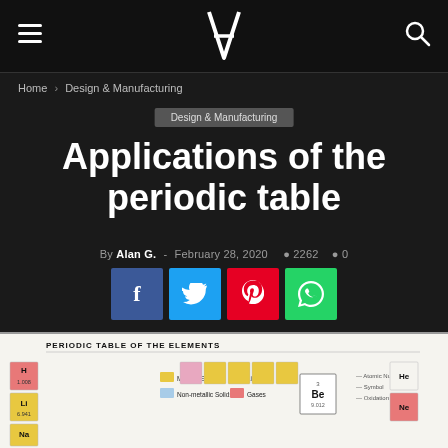Applications of the periodic table — site navigation header
Home › Design & Manufacturing
Design & Manufacturing
Applications of the periodic table
By Alan G. - February 28, 2020   2262   0
[Figure (other): Social sharing buttons: Facebook, Twitter, Pinterest, WhatsApp]
[Figure (other): Partial view of a Periodic Table of the Elements chart showing element tiles, legend for Metallic Solids, Non-metallic Solids, Liquids, Gases, and a sample element box diagram.]